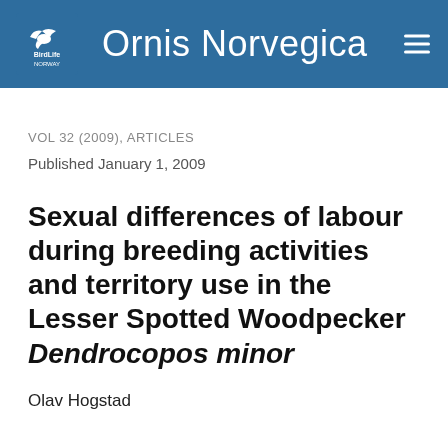BirdLife Norway – Ornis Norvegica
VOL 32 (2009), ARTICLES
Published January 1, 2009
Sexual differences of labour during breeding activities and territory use in the Lesser Spotted Woodpecker Dendrocopos minor
Olav Hogstad